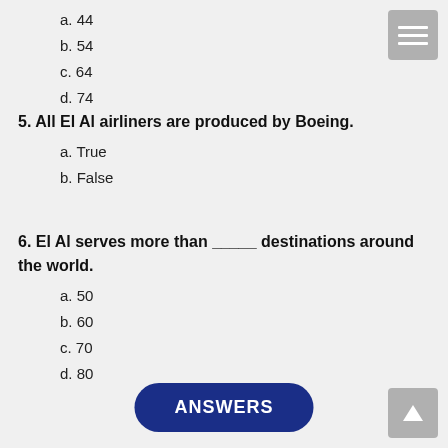a. 44
b. 54
c. 64
d. 74
5. All El Al airliners are produced by Boeing.
a. True
b. False
6. El Al serves more than _____ destinations around the world.
a. 50
b. 60
c. 70
d. 80